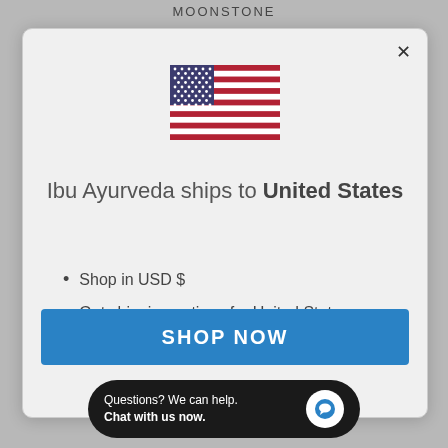MOONSTONE
[Figure (illustration): US flag SVG illustration inside a modal dialog]
Ibu Ayurveda ships to United States
Shop in USD $
Get shipping options for United States
SHOP NOW
CHANGE SHIPPING COUNTRY
Questions? We can help. Chat with us now.